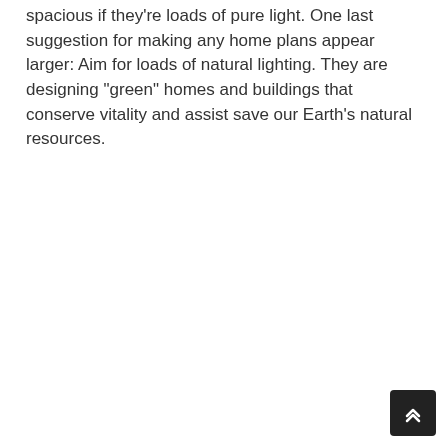spacious if they're loads of pure light. One last suggestion for making any home plans appear larger: Aim for loads of natural lighting. They are designing "green" homes and buildings that conserve vitality and assist save our Earth's natural resources.